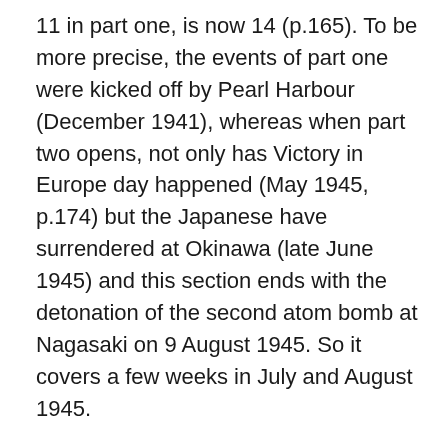11 in part one, is now 14 (p.165). To be more precise, the events of part one were kicked off by Pearl Harbour (December 1941), whereas when part two opens, not only has Victory in Europe day happened (May 1945, p.174) but the Japanese have surrendered at Okinawa (late June 1945) and this section ends with the detonation of the second atom bomb at Nagasaki on 9 August 1945. So it covers a few weeks in July and August 1945.
Anyway, part two (pp.163-260) finds a Jim who has survived three and a half long years in the Lunghua internment camp and been utterly changed by it. It describes in excruciating detail the permanent malnutrition and thirst, the obsession with food, and the countless petty humiliations the internees are prey to. Everyone is thin and emaciated, most can barely be bothered to walk or talk. Jim hal...